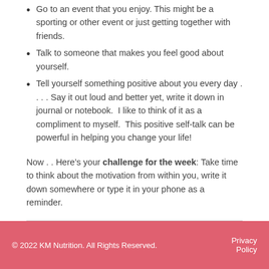Go to an event that you enjoy. This might be a sporting or other event or just getting together with friends.
Talk to someone that makes you feel good about yourself.
Tell yourself something positive about you every day . . . . Say it out loud and better yet, write it down in journal or notebook.  I like to think of it as a compliment to myself.  This positive self-talk can be powerful in helping you change your life!
Now . . Here’s your challenge for the week: Take time to think about the motivation from within you, write it down somewhere or type it in your phone as a reminder.
Posted in Blog, Diabetes Prevention, Diabetes Tips, Managing Diabetes and tagged diabetes tips to manage it, how to live with diabetes daily, how to manage diabetes daily, managing diabetes, tips to manage diabetes
© 2022 KM Nutrition. All Rights Reserved. Privacy Policy